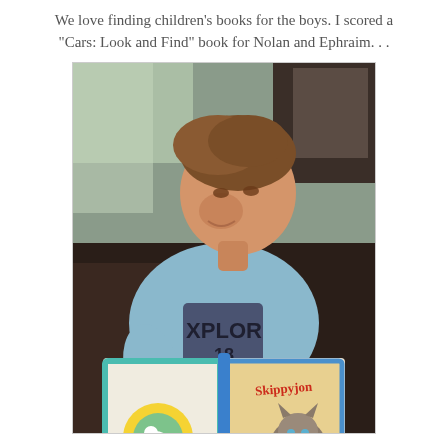We love finding children's books for the boys. I scored a "Cars: Look and Find" book for Nolan and Ephraim. . .
[Figure (photo): A young boy with short brown hair wearing a light blue graphic t-shirt, smiling while looking down and reading an open children's book. The right page of the book shows 'Skippyjon' with a cat illustration; the left page has colorful circular graphics.]